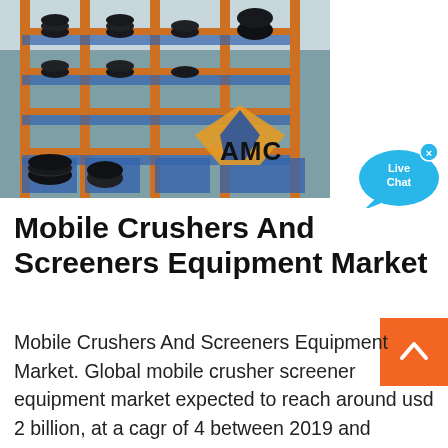[Figure (photo): Industrial warehouse with metal shelving racks holding large black circular machine parts (crusher/screener components) on blue pallets. AMC logo visible in lower right corner of photo.]
[Figure (infographic): Live Chat speech bubble widget in blue with text 'Live Chat' and an X close button in top right corner.]
Mobile Crushers And Screeners Equipment Market
Mobile Crushers And Screeners Equipment Market. Global mobile crusher screener equipment market expected to reach around usd 2 billion, at a cagr of 4 between 2019 and 2025he global epdm ethylene propylene diene monomer market is expected to witness substantial growth in the future, owing to the flourishing automotive industry in several